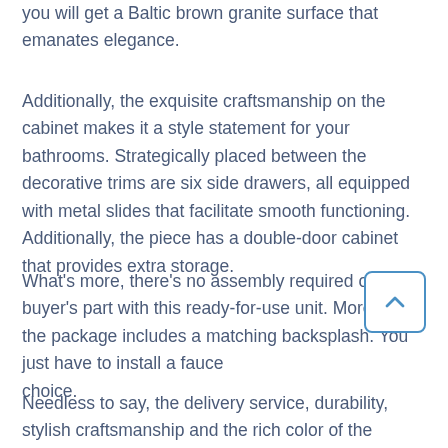you will get a Baltic brown granite surface that emanates elegance.
Additionally, the exquisite craftsmanship on the cabinet makes it a style statement for your bathrooms. Strategically placed between the decorative trims are six side drawers, all equipped with metal slides that facilitate smooth functioning. Additionally, the piece has a double-door cabinet that provides extra storage.
What's more, there's no assembly required on the buyer's part with this ready-for-use unit. Moreover, the package includes a matching backsplash. You just have to install a faucet of your choice.
Needless to say, the delivery service, durability, stylish craftsmanship and the rich color of the granite countertop